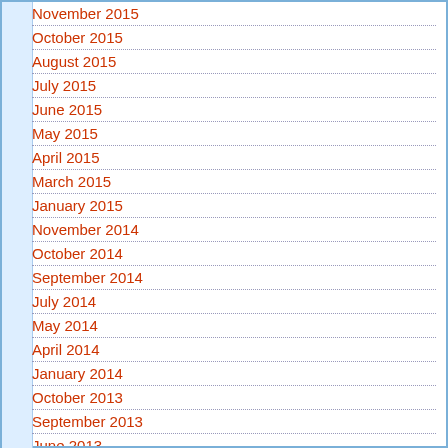November 2015
October 2015
August 2015
July 2015
June 2015
May 2015
April 2015
March 2015
January 2015
November 2014
October 2014
September 2014
July 2014
May 2014
April 2014
January 2014
October 2013
September 2013
June 2013
April 2013
January 2013
December 2012
November 2012